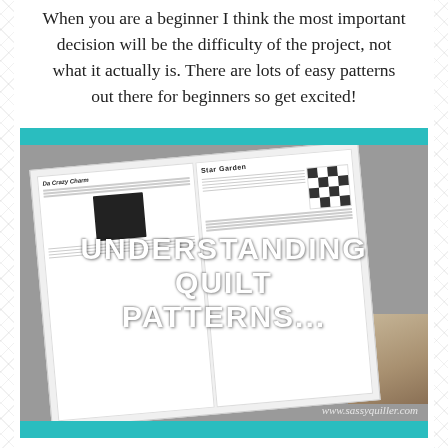When you are a beginner I think the most important decision will be the difficulty of the project, not what it actually is. There are lots of easy patterns out there for beginners so get excited!
[Figure (photo): An open book or magazine showing quilt patterns including 'Da Crazy Charm' on the left page and 'Star Garden' on the right page, photographed from above on a wooden surface. The image has teal bars at top and bottom. White bold text overlay reads 'UNDERSTANDING QUILT PATTERNS...' A watermark reads 'www.sassyquiller.com']